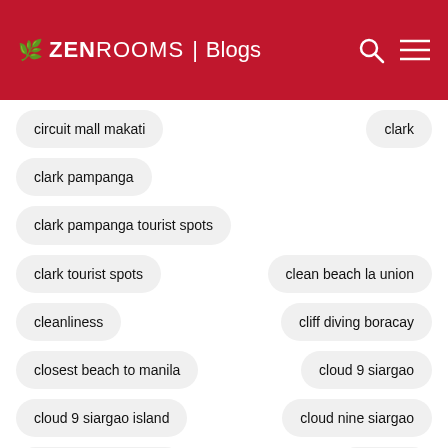ZEN ROOMS | Blogs
circuit mall makati
clark
clark pampanga
clark pampanga tourist spots
clark tourist spots
clean beach la union
cleanliness
cliff diving boracay
closest beach to manila
cloud 9 siargao
cloud 9 siargao island
cloud nine siargao
club serena moalboal
coachella
coco grove siquijor